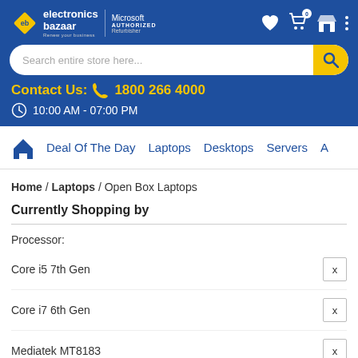[Figure (logo): Electronics Bazaar logo with Microsoft Authorized Refurbisher badge, header icons (heart, cart with 0 badge, store, menu)]
Search entire store here...
Contact Us: 1800 266 4000
10:00 AM - 07:00 PM
Deal Of The Day  Laptops  Desktops  Servers  A
Home / Laptops / Open Box Laptops
Currently Shopping by
Processor:
Core i5 7th Gen  X
Core i7 6th Gen  X
Mediatek MT8183  X